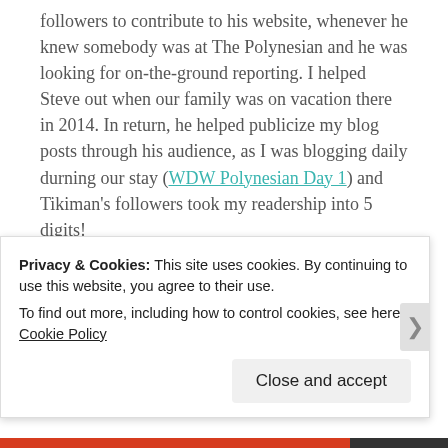followers to contribute to his website, whenever he knew somebody was at The Polynesian and he was looking for on-the-ground reporting. I helped Steve out when our family was on vacation there in 2014. In return, he helped publicize my blog posts through his audience, as I was blogging daily durning our stay (WDW Polynesian Day 1) and Tikiman's followers took my readership into 5 digits!
A few years later, Tikiman decided to host a get together for Tiki friends at the Trader...
Privacy & Cookies: This site uses cookies. By continuing to use this website, you agree to their use.
To find out more, including how to control cookies, see here: Cookie Policy